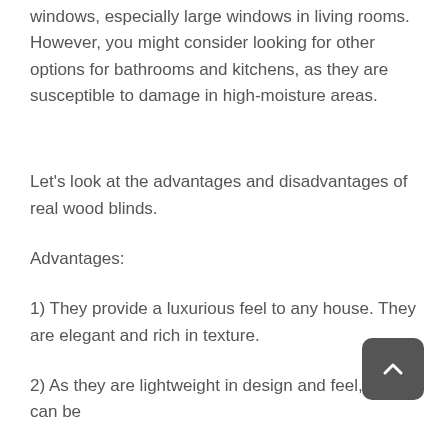windows, especially large windows in living rooms. However, you might consider looking for other options for bathrooms and kitchens, as they are susceptible to damage in high-moisture areas.
Let's look at the advantages and disadvantages of real wood blinds.
Advantages:
1) They provide a luxurious feel to any house. They are elegant and rich in texture.
2) As they are lightweight in design and feel, they can be